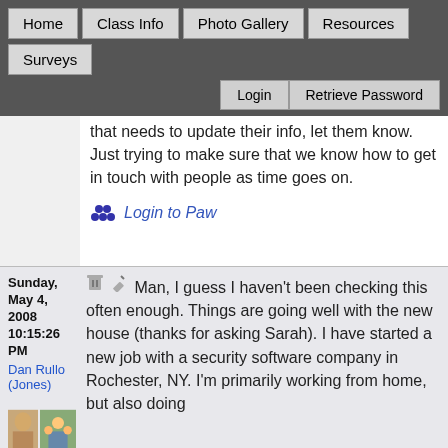Home | Class Info | Photo Gallery | Resources | Surveys | Login | Retrieve Password
that needs to update their info, let them know. Just trying to make sure that we know how to get in touch with people as time goes on.
Login to Paw
Sunday, May 4, 2008 10:15:26 PM
Dan Rullo (Jones)
Man, I guess I haven't been checking this often enough. Things are going well with the new house (thanks for asking Sarah). I have started a new job with a security software company in Rochester, NY. I'm primarily working from home, but also doing